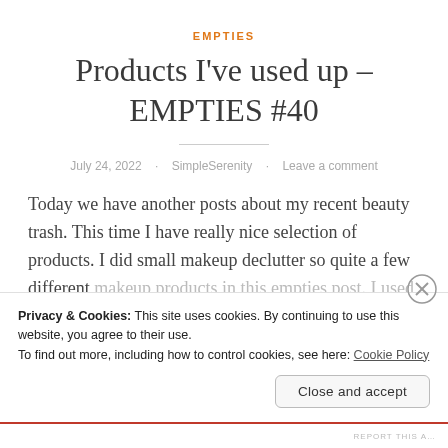EMPTIES
Products I've used up – EMPTIES #40
July 24, 2022 · SimpleSerenity · Leave a comment
Today we have another posts about my recent beauty trash. This time I have really nice selection of products. I did small makeup declutter so quite a few different makeup products in this empties post. I used up quite a
Privacy & Cookies: This site uses cookies. By continuing to use this website, you agree to their use.
To find out more, including how to control cookies, see here: Cookie Policy
Close and accept